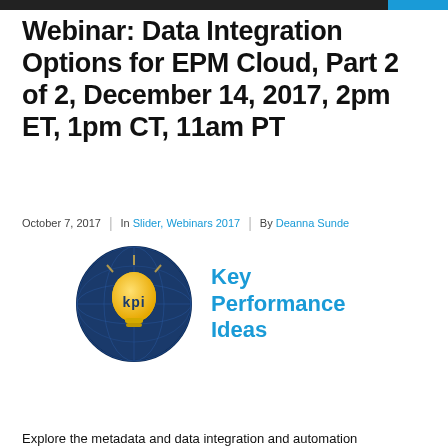Webinar: Data Integration Options for EPM Cloud, Part 2 of 2, December 14, 2017, 2pm ET, 1pm CT, 11am PT
October 7, 2017  |  In Slider, Webinars 2017  |  By Deanna Sunde
[Figure (logo): Key Performance Ideas logo: blue globe with yellow lightbulb and 'kpi' text, beside bold blue text 'Key Performance Ideas']
Explore the metadata and data integration and automation